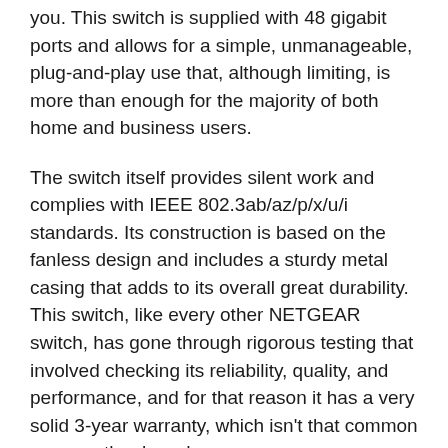you. This switch is supplied with 48 gigabit ports and allows for a simple, unmanageable, plug-and-play use that, although limiting, is more than enough for the majority of both home and business users.
The switch itself provides silent work and complies with IEEE 802.3ab/az/p/x/u/i standards. Its construction is based on the fanless design and includes a sturdy metal casing that adds to its overall great durability. This switch, like every other NETGEAR switch, has gone through rigorous testing that involved checking its reliability, quality, and performance, and for that reason it has a very solid 3-year warranty, which isn't that common among other brands.
NETGEAR 48-Port Gigabit Ethernet Unmanaged Switch (GS348) features include QoS, Auto-MDI/MDIX, Auto-